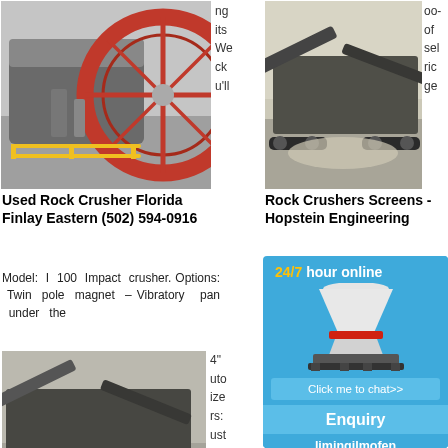[Figure (photo): Industrial ball mill / rock crusher machine in a facility, large red circular gear visible]
ng
its
We
ck
u'll
[Figure (photo): Mobile rock crusher/screening plant outdoors in a quarry setting]
oo-
of
sel
ric
ge
Used Rock Crusher Florida Finlay Eastern (502) 594-0916
Rock Crushers Screens - Hopstein Engineering
Model: I 100 Impact crusher. Options: Twin pole magnet – Vibratory pan under the
2020-2-5   Rock crusher sales into South… New and… Available.
[Figure (photo): Mobile jaw crusher/screening plant, tracked, in quarry]
4"
auto
ize
rs:
ust
[Figure (photo): Industrial crusher machinery in a plant, blue and orange equipment]
[Figure (infographic): Chat widget overlay: 24/7 hour online, cone crusher image, Click me to chat>> button, Enquiry bar, limingjlmofen text]
used rock crushers for sale from japan, used rock crushers ...
Used Ro… crushers a… Sale - Us… Crushers…
Alibaba offers 2,061 used rock
Used C…